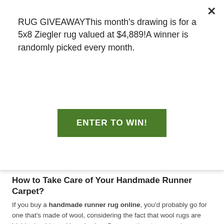RUG GIVEAWAYThis month's drawing is for a 5x8 Ziegler rug valued at $4,889!A winner is randomly picked every month.
[Figure (other): Green button labeled ENTER TO WIN!]
How to Take Care of Your Handmade Runner Carpet?
If you buy a handmade runner rug online, you'd probably go for one that's made of wool, considering the fact that wool rugs are highly-durable and long-lasting. But even the strong wool runner rugs need regular maintenance and proper care to retain their original color and shape.
If you don't want your handmade runner carpet to get distressed, wear out, get torn, or get faded within a few years, you would have to clean it on a regular basis. Our rug experts recommend cleaning a wool rug at least 2-3 times per week using a good-quality vacuum cleaner with soft brush bristles.
Apart from this, you should get your handmade runner carpet deeply cleaned by professional rug cleaners at least once every year, to make sure all the deeply set dirt is cleaned, and to revive the fibers of your wool rug.